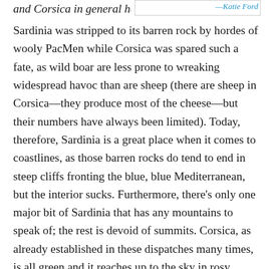and Corsica in general has,
—Katie Ford
Sardinia was stripped to its barren rock by hordes of wooly PacMen while Corsica was spared such a fate, as wild boar are less prone to wreaking widespread havoc than are sheep (there are sheep in Corsica—they produce most of the cheese—but their numbers have always been limited). Today, therefore, Sardinia is a great place when it comes to coastlines, as those barren rocks do tend to end in steep cliffs fronting the blue, blue Mediterranean, but the interior sucks. Furthermore, there's only one major bit of Sardinia that has any mountains to speak of; the rest is devoid of summits. Corsica, as already established in these dispatches many times, is all green and it reaches up to the sky in rosy granite fingers while plunging into the depths in